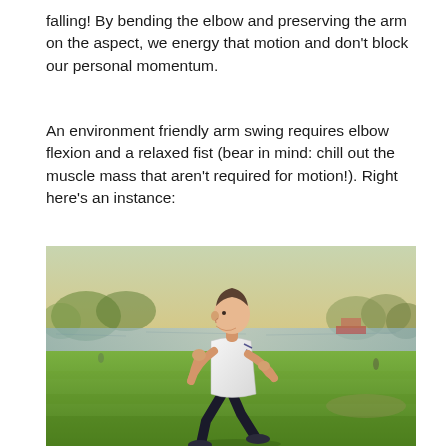falling! By bending the elbow and preserving the arm on the aspect, we energy that motion and don't block our personal momentum.
An environment friendly arm swing requires elbow flexion and a relaxed fist (bear in mind: chill out the muscle mass that aren't required for motion!). Right here's an instance:
[Figure (photo): A man in a white athletic shirt and dark shorts running outdoors on a grassy area near a body of water with trees in the background, demonstrating a running arm swing posture.]